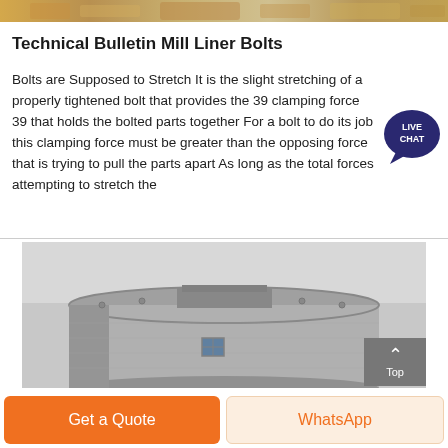[Figure (photo): Decorative image strip at top of page showing industrial equipment / bolts in golden tones]
Technical Bulletin Mill Liner Bolts
Bolts are Supposed to Stretch It is the slight stretching of a properly tightened bolt that provides the 39 clamping force 39 that holds the bolted parts together For a bolt to do its job this clamping force must be greater than the opposing force that is trying to pull the parts apart As long as the total forces attempting to stretch the
[Figure (photo): Black and white photograph of a large cylindrical industrial mill structure (possibly a ball mill or silo) with a small window visible on its side]
Get a Quote
WhatsApp